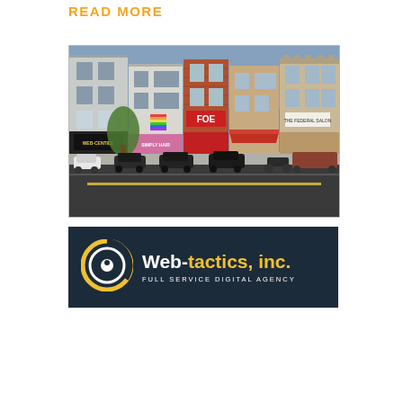READ MORE
[Figure (photo): Street-level photograph of a urban main street with multi-story brick and stone commercial buildings, storefronts including 'Simply Hair', 'FOE', a salon with red awning, and 'Web-centile'. Cars and motorcycles parked along the street, trees visible.]
[Figure (logo): Web-tactics, inc. logo on dark navy background. Circular icon with concentric rings in yellow and white, text 'Web-tactics, inc.' in white and yellow, subtitle 'FULL SERVICE DIGITAL AGENCY' in white.]